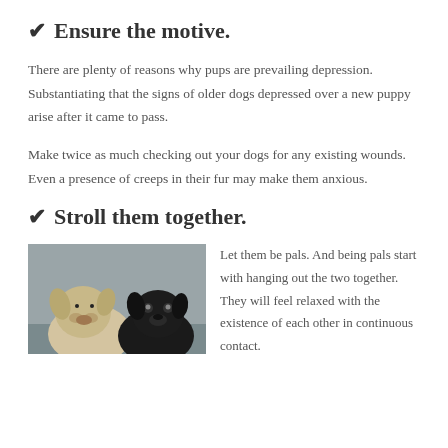✔ Ensure the motive.
There are plenty of reasons why pups are prevailing depression. Substantiating that the signs of older dogs depressed over a new puppy arise after it came to pass.
Make twice as much checking out your dogs for any existing wounds. Even a presence of creeps in their fur may make them anxious.
✔ Stroll them together.
[Figure (photo): Two dogs sitting together — a light-colored fluffy dog and a black dog, photographed indoors.]
Let them be pals. And being pals start with hanging out the two together. They will feel relaxed with the existence of each other in continuous contact.